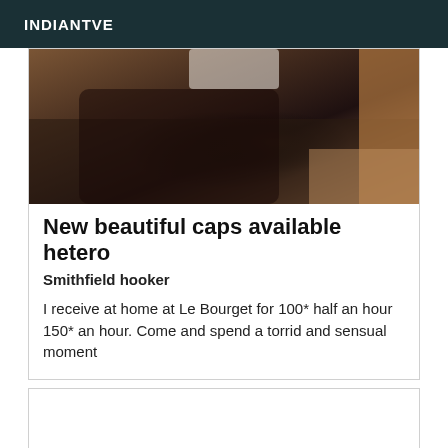INDIANTVE
[Figure (photo): A close-up photo showing legs/lower body in dim indoor lighting with wooden furniture visible]
New beautiful caps available hetero
Smithfield hooker
I receive at home at Le Bourget for 100* half an hour 150* an hour. Come and spend a torrid and sensual moment
[Figure (photo): Empty white card area below]